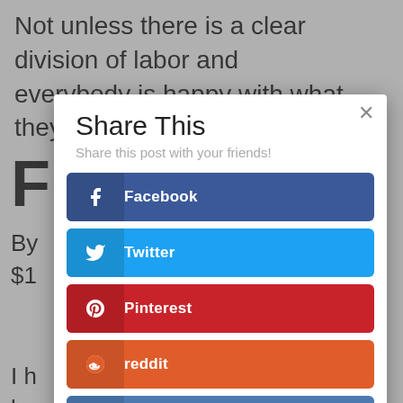Not unless there is a clear division of labor and everybody is happy with what they're doing.
F
By ... $1
I h lea an
Gr
[Figure (screenshot): Share This modal dialog with social sharing buttons: Facebook, Twitter, Pinterest, reddit, VKontakte, LinkedIn. Includes close button (×) and subtitle 'Share this post with your friends!']